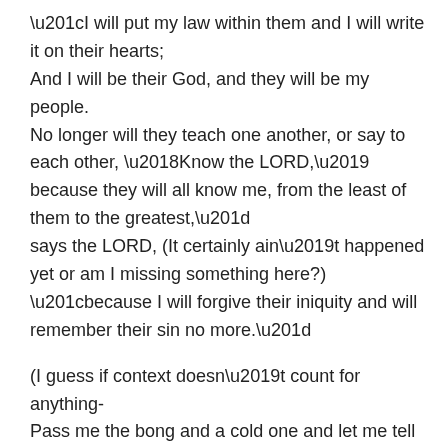“I will put my law within them and I will write it on their hearts; And I will be their God, and they will be my people. No longer will they teach one another, or say to each other, ‘Know the LORD,’ because they will all know me, from the least of them to the greatest,” says the LORD, (It certainly ain’t happened yet or am I missing something here?) “because I will forgive their iniquity and will remember their sin no more.”
(I guess if context doesn’t count for anything- Pass me the bong and a cold one and let me tell you a bedtime story.)